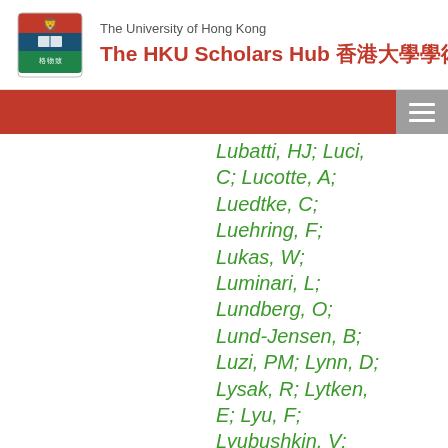The University of Hong Kong — The HKU Scholars Hub 香港大學學術庫
Lubatti, HJ; Luci, C; Lucotte, A; Luedtke, C; Luehring, F; Lukas, W; Luminari, L; Lundberg, O; Lund-Jensen, B; Luzi, PM; Lynn, D; Lysak, R; Lytken, E; Lyu, F; Lyubushkin, V; Ma, H; Ma, LL; Ma, Y; Maccarrone, G; Macchiolo, A; Macdonald, CM; Maček, B;